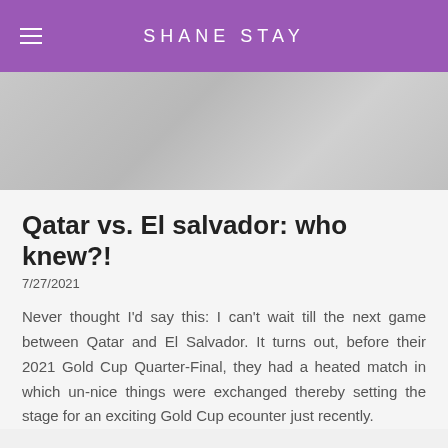SHANE STAY
[Figure (photo): Partially visible image below the header navigation bar, showing a blurred/cropped photo.]
Qatar vs. El salvador: who knew?!
7/27/2021
Never thought I'd say this: I can't wait till the next game between Qatar and El Salvador. It turns out, before their 2021 Gold Cup Quarter-Final, they had a heated match in which un-nice things were exchanged thereby setting the stage for an exciting Gold Cup ecounter just recently.